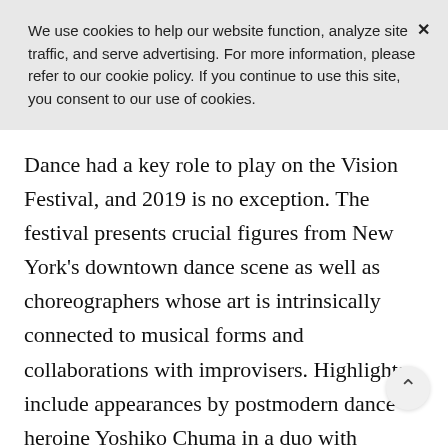We use cookies to help our website function, analyze site traffic, and serve advertising. For more information, please refer to our cookie policy. If you continue to use this site, you consent to our use of cookies.
Dance had a key role to play on the Vision Festival, and 2019 is no exception. The festival presents crucial figures from New York's downtown dance scene as well as choreographers whose art is intrinsically connected to musical forms and collaborations with improvisers. Highlights include appearances by postmodern dance heroine Yoshiko Chuma in a duo with Miriam Parker, and a performance by Dianne McIntyre, who is noted for her vital collaborations with musicians such as Olu Dara, Lester Bowie and Don Pullen, among others. Dancer-choreographer Pati Nicholas Parker will be...